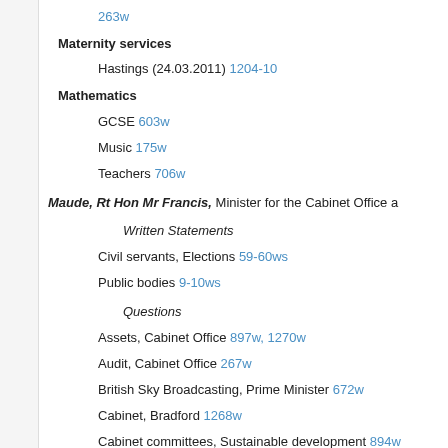263w
Maternity services
Hastings (24.03.2011) 1204-10
Mathematics
GCSE 603w
Music 175w
Teachers 706w
Maude, Rt Hon Mr Francis, Minister for the Cabinet Office a
Written Statements
Civil servants, Elections 59-60ws
Public bodies 9-10ws
Questions
Assets, Cabinet Office 897w, 1270w
Audit, Cabinet Office 267w
British Sky Broadcasting, Prime Minister 672w
Cabinet, Bradford 1268w
Cabinet committees, Sustainable development 894w
Civil servants, Location 835w
EU law, Parliamentary scrutiny 898w